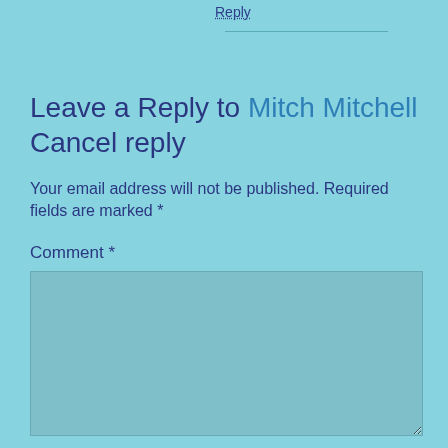Reply
Leave a Reply to Mitch Mitchell Cancel reply
Your email address will not be published. Required fields are marked *
Comment *
Name *